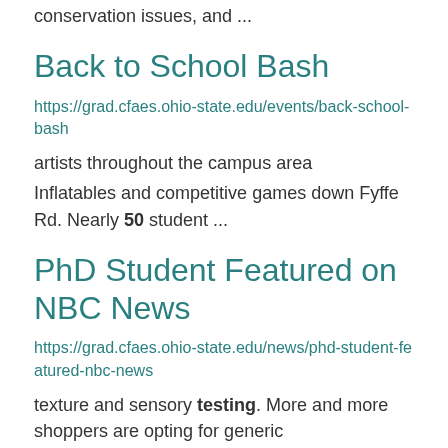conservation issues, and ...
Back to School Bash
https://grad.cfaes.ohio-state.edu/events/back-school-bash
artists throughout the campus area
Inflatables and competitive games down Fyffe Rd. Nearly 50 student ...
PhD Student Featured on NBC News
https://grad.cfaes.ohio-state.edu/news/phd-student-featured-nbc-news
texture and sensory testing. More and more shoppers are opting for generic